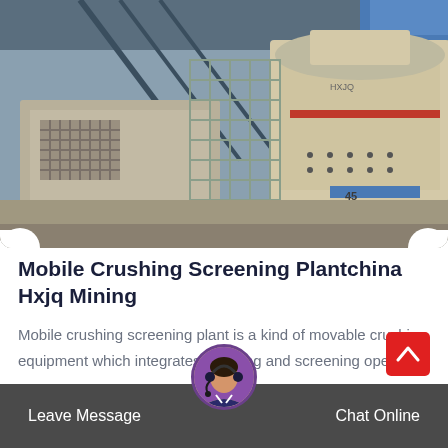[Figure (photo): Large industrial mobile crushing and screening plant machinery inside a warehouse/shed, showing beige/cream colored heavy equipment with metal framework, stairs, and conveyor components.]
Mobile Crushing Screening Plantchina Hxjq Mining
Mobile crushing screening plant is a kind of movable crushing equipment which integrates crushing and screening operation on one...
Leave Message   Chat Online